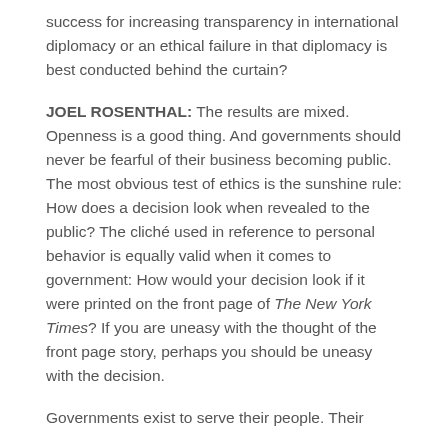success for increasing transparency in international diplomacy or an ethical failure in that diplomacy is best conducted behind the curtain?
JOEL ROSENTHAL: The results are mixed. Openness is a good thing. And governments should never be fearful of their business becoming public. The most obvious test of ethics is the sunshine rule: How does a decision look when revealed to the public? The cliché used in reference to personal behavior is equally valid when it comes to government: How would your decision look if it were printed on the front page of The New York Times? If you are uneasy with the thought of the front page story, perhaps you should be uneasy with the decision.
Governments exist to serve their people. Their